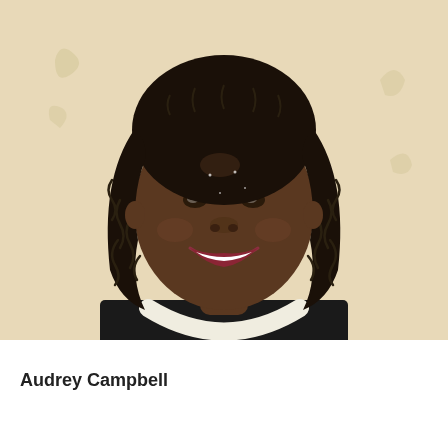[Figure (photo): Headshot photo of Audrey Campbell, a woman with shoulder-length dark twisted/braided hair, smiling broadly, wearing a black sleeveless top with a white/cream neckline trim. Background is a warm cream/beige color.]
Audrey Campbell